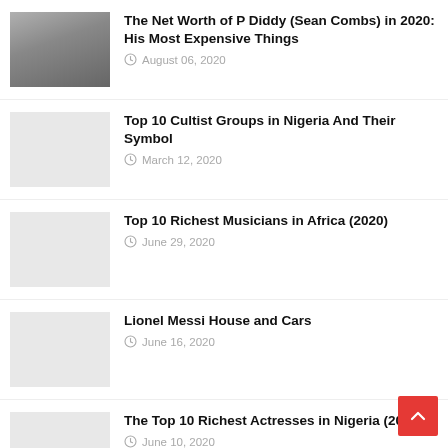[Figure (photo): Photo of P Diddy (Sean Combs)]
The Net Worth of P Diddy (Sean Combs) in 2020: His Most Expensive Things
August 06, 2020
[Figure (photo): Placeholder thumbnail for cultist groups article]
Top 10 Cultist Groups in Nigeria And Their Symbol
March 12, 2020
[Figure (photo): Placeholder thumbnail for richest musicians article]
Top 10 Richest Musicians in Africa (2020)
June 29, 2020
[Figure (photo): Placeholder thumbnail for Lionel Messi article]
Lionel Messi House and Cars
June 16, 2020
[Figure (photo): Placeholder thumbnail for richest actresses article]
The Top 10 Richest Actresses in Nigeria (2020)
June 10, 2020